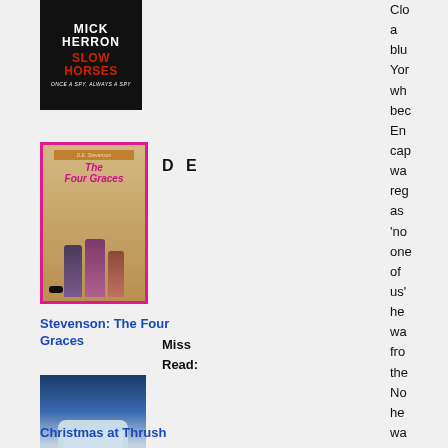[Figure (photo): Book cover: Mick Herron - Slow Horses, black background with red title text]
[Figure (photo): Book cover: The Four Graces with pink border, showing illustrated women figures on gold/brown background]
D E
Stevenson: The Four Graces
Miss Read:
[Figure (photo): Book cover: Christmas at Thrush Green by Miss Read, winter snowy scene]
Christmas at Thrush
Clo a blu Yor wh bec En cap wa reg as 'no one of us' he wa fro the No he wa wo